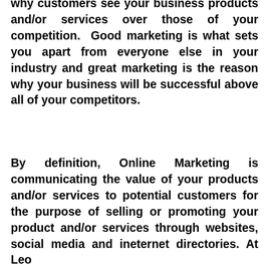why customers see your business products and/or services over those of your competition. Good marketing is what sets you apart from everyone else in your industry and great marketing is the reason why your business will be successful above all of your competitors.
By definition, Online Marketing is communicating the value of your products and/or services to potential customers for the purpose of selling or promoting your product and/or services through websites, social media and ineternet directories. At Leo